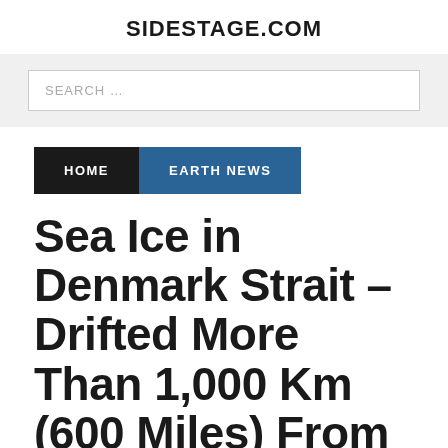SIDESTAGE.COM
SEARCH ...
HOME   EARTH NEWS
Sea Ice in Denmark Strait – Drifted More Than 1,000 Km (600 Miles) From the